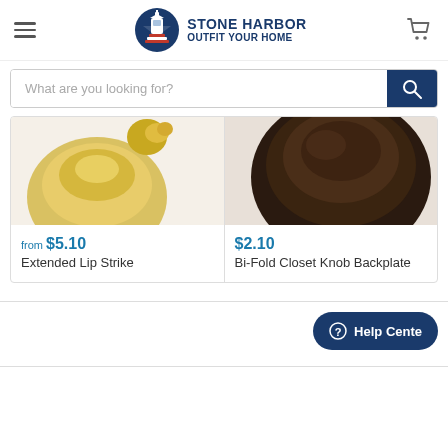[Figure (logo): Stone Harbor lighthouse logo circle with text STONE HARBOR OUTFIT YOUR HOME]
[Figure (screenshot): Search bar with placeholder text 'What are you looking for?' and dark blue search button]
[Figure (photo): Product image: gold/brass Extended Lip Strike hardware, partially cropped]
from $5.10
Extended Lip Strike
[Figure (photo): Product image: dark bronze/oil-rubbed Bi-Fold Closet Knob Backplate, partially cropped]
$2.10
Bi-Fold Closet Knob Backplate
[Figure (screenshot): Help Center button at bottom right]